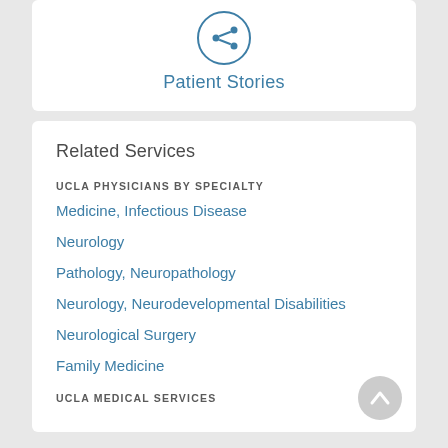[Figure (icon): Share icon inside a circle, blue outline]
Patient Stories
Related Services
UCLA PHYSICIANS BY SPECIALTY
Medicine, Infectious Disease
Neurology
Pathology, Neuropathology
Neurology, Neurodevelopmental Disabilities
Neurological Surgery
Family Medicine
UCLA MEDICAL SERVICES
[Figure (other): Back to top button, circular grey arrow icon]